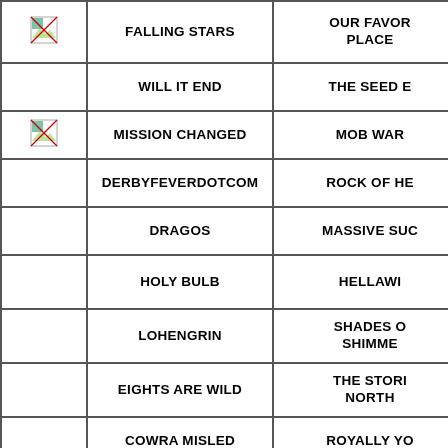| [image] | Name | Related |
| --- | --- | --- |
| [img] | FALLING STARS | OUR FAVOR... PLACE... |
|  | WILL IT END | THE SEED E... |
| [img] | MISSION CHANGED | MOB WAR... |
|  | DERBYFEVERDOTCOM | ROCK OF HE... |
|  | DRAGOS | MASSIVE SUC... |
|  | HOLY BULB | HELLAWI... |
|  | LOHENGRIN | SHADES O... SHIMME... |
|  | EIGHTS ARE WILD | THE STORI... NORTH... |
|  | COWRA MISLED | ROYALLY YO... |
|  | DALHAM HALL | SAVYDA... |
|  | WHO WATCHES | DARWINIS... |